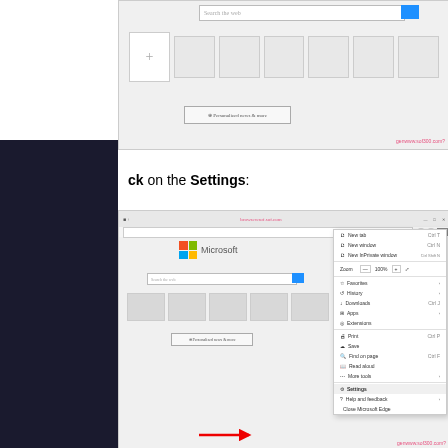[Figure (screenshot): Microsoft Edge browser new tab page screenshot showing search bar, + tile button, and personalized news button with watermark]
ck on the Settings:
[Figure (screenshot): Microsoft Edge browser screenshot showing the Microsoft homepage with the three-dots menu open, highlighting the Settings option with a red arrow]